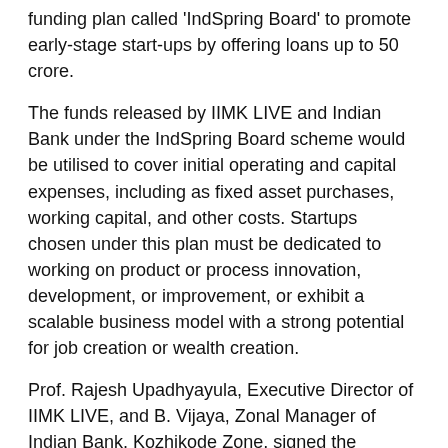funding plan called 'IndSpring Board' to promote early-stage start-ups by offering loans up to 50 crore.
The funds released by IIMK LIVE and Indian Bank under the IndSpring Board scheme would be utilised to cover initial operating and capital expenses, including as fixed asset purchases, working capital, and other costs. Startups chosen under this plan must be dedicated to working on product or process innovation, development, or improvement, or exhibit a scalable business model with a strong potential for job creation or wealth creation.
Prof. Rajesh Upadhyayula, Executive Director of IIMK LIVE, and B. Vijaya, Zonal Manager of Indian Bank, Kozhikode Zone, signed the Memorandum of Understanding. Prof. Chatterjee spoke on the occasion and described the Business Incubator's remarkable six-year journey. He said, "Innovation and entrepreneurship are the bedrock on which IIMK has dared to go beyond traditional boundaries. The top two ranks in prestigious India's Atal Innovation Rankings 2021 is a